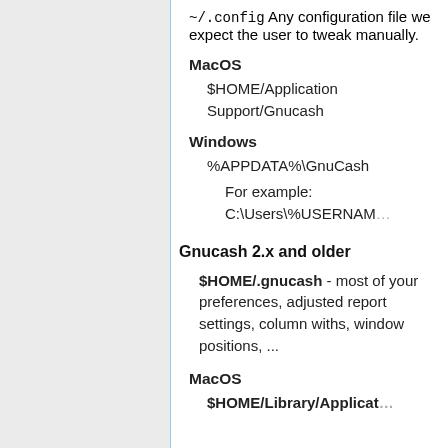~/.config Any configuration file we expect the user to tweak manually.
MacOS
$HOME/Application Support/Gnucash
Windows
%APPDATA%\GnuCash
For example: C:\Users\%USERNAME%
Gnucash 2.x and older
$HOME/.gnucash - most of your preferences, adjusted report settings, column withs, window positions, ...
MacOS
$HOME/Library/Application Support/Gnucash